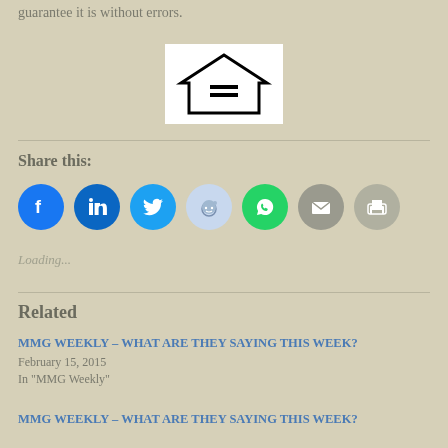guarantee it is without errors.
[Figure (logo): Equal Housing Lender logo — house icon with equal sign, text EQUAL HOUSING LENDER below]
Share this:
[Figure (infographic): Row of social share icon buttons: Facebook (blue), LinkedIn (dark blue), Twitter (blue), Reddit (light blue), WhatsApp (green), Email (gray), Print (gray)]
Loading...
Related
MMG WEEKLY – WHAT ARE THEY SAYING THIS WEEK?
February 15, 2015
In "MMG Weekly"
MMG WEEKLY – WHAT ARE THEY SAYING THIS WEEK?